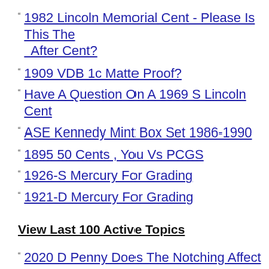1982 Lincoln Memorial Cent - Please Is This The After Cent?
1909 VDB 1c Matte Proof?
Have A Question On A 1969 S Lincoln Cent
ASE Kennedy Mint Box Set 1986-1990
1895 50 Cents , You Vs PCGS
1926-S Mercury For Grading
1921-D Mercury For Grading
View Last 100 Active Topics
2020 D Penny Does The Notching Affect Newer Same Rule Affect The In The Same Way
Is The Damage To This 2015 P Dime Happen At